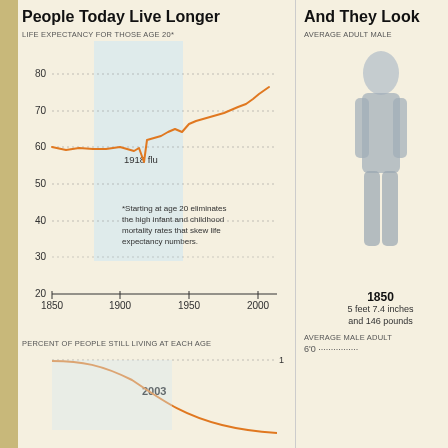People Today Live Longer
[Figure (line-chart): Life Expectancy For Those Age 20*]
[Figure (line-chart): Percent of People Still Living at Each Age]
And They Look
AVERAGE ADULT MALE
[Figure (illustration): Silhouette of average adult male in 1850]
1850
5 feet 7.4 inches and 146 pounds
AVERAGE MALE ADULT
6'0